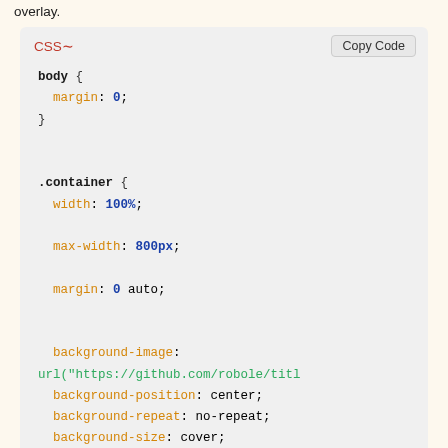overlay.
[Figure (screenshot): CSS code block showing body, .container, and svg selectors with syntax highlighting. Includes a 'Copy Code' button in the top right corner.]